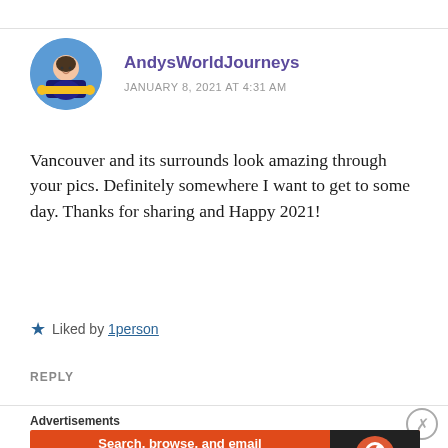[Figure (photo): Circular avatar photo of a person on a yellow airplane toy with blue sky background]
AndysWorldJourneys
JANUARY 8, 2021 AT 4:31 AM
Vancouver and its surrounds look amazing through your pics. Definitely somewhere I want to get to some day. Thanks for sharing and Happy 2021!
★ Liked by 1person
REPLY
Advertisements
[Figure (screenshot): DuckDuckGo advertisement banner: Search, browse, and email with more privacy. All in One Free App]